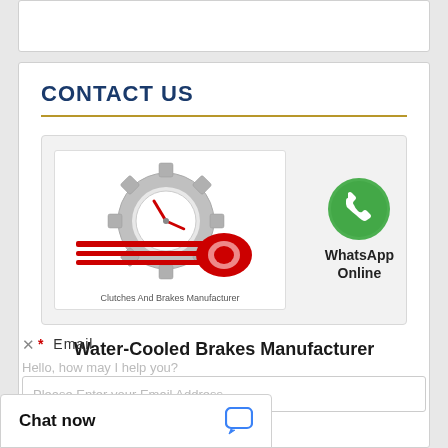CONTACT US
[Figure (logo): Clutches And Brakes Manufacturer logo: gear with clock hands and red wrench]
[Figure (logo): WhatsApp Online green phone icon with text WhatsApp Online]
Water-Cooled Brakes Manufacturer
* Email
Hello, how may I help you?
Please Enter your Email Address
Chat now